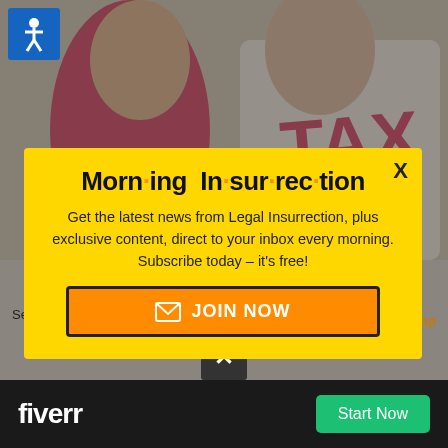[Figure (photo): Background photo of people wearing 'TAX' clothing, dimmed by overlay. Website screenshot context.]
[Figure (infographic): Modal popup with yellow background. Title: Morning Insurrection with orange dots between syllables. Body text: Get the latest news from Legal Insurrection, plus exclusive content, direct to your inbox every morning. Subscribe today – it's free! Orange JOIN NOW button with envelope icon.]
Morn·ing In·sur·rec·tion
Get the latest news from Legal Insurrection, plus exclusive content, direct to your inbox every morning. Subscribe today – it's free!
September 15, 2021 12 Comments
[Figure (infographic): Fiverr advertisement bar at bottom. Black background with white 'fiverr' logo text on left and green 'Start Now' button on right.]